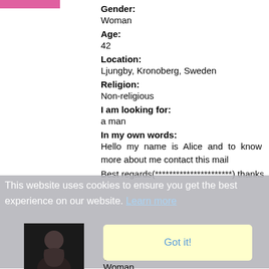[Figure (photo): Pink bar / partial profile image at top left]
Gender:
Woman
Age:
42
Location:
Ljungby, Kronoberg, Sweden
Religion:
Non-religious
I am looking for:
a man
In my own words:
Hello my name is Alice and to know more about me contact this mail
Best regards(**********************) thanks
This website uses cookies to ensure you get the best experience on our website. Learn more
[Figure (photo): Profile photo of Nicole4love - woman with dark hair]
Username:
Nicole4love
Got it!
Gender:
Woman